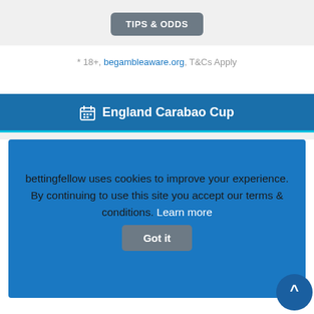TIPS & ODDS
* 18+, begambleaware.org, T&Cs Apply
England Carabao Cup
bettingfellow uses cookies to improve your experience. By continuing to use this site you accept our terms & conditions. Learn more
Got it
* 18+, begambleaware.org, T&Cs Apply